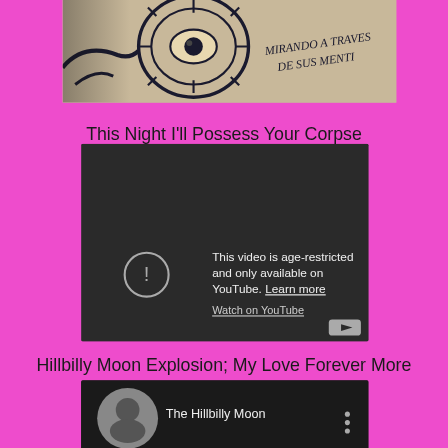[Figure (photo): Close-up photo of a vintage illustration or stamp showing a face/eye with text 'MIRANDO A TRAVES DE SUS MENTI...' on a beige/cream background]
This Night I'll Possess Your Corpse
[Figure (screenshot): YouTube embedded video player showing age-restriction message: 'This video is age-restricted and only available on YouTube. Learn more' with 'Watch on YouTube' link and YouTube logo button]
Hillbilly Moon Explosion; My Love Forever More
[Figure (screenshot): YouTube embedded video player showing The Hillbilly Moon thumbnail with channel icon and menu dots]